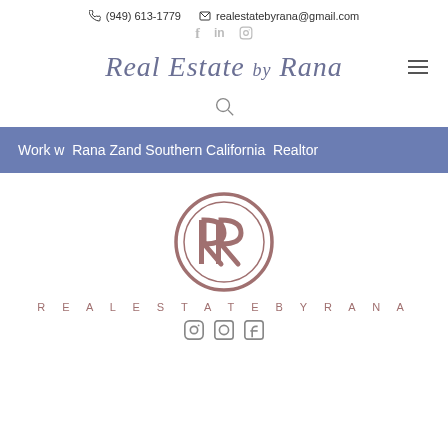(949) 613-1779  realestatebyrana@gmail.com
[Figure (logo): Real Estate by Rana script logo in slate blue/purple]
Work w  Rana Zand Southern California  Realtor
[Figure (logo): RR monogram circle logo in mauve/dusty rose with text Real Estate by Rana below]